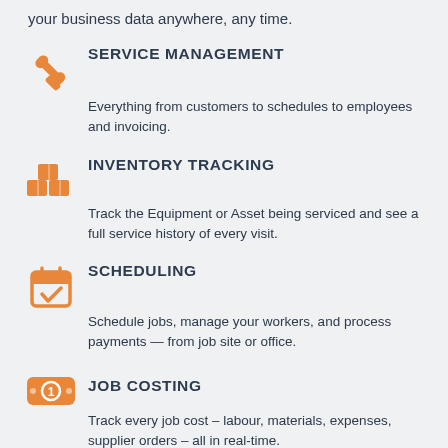your business data anywhere, any time.
SERVICE MANAGEMENT
Everything from customers to schedules to employees and invoicing.
INVENTORY TRACKING
Track the Equipment or Asset being serviced and see a full service history of every visit.
SCHEDULING
Schedule jobs, manage your workers, and process payments — from job site or office.
JOB COSTING
Track every job cost – labour, materials, expenses, supplier orders – all in real-time.